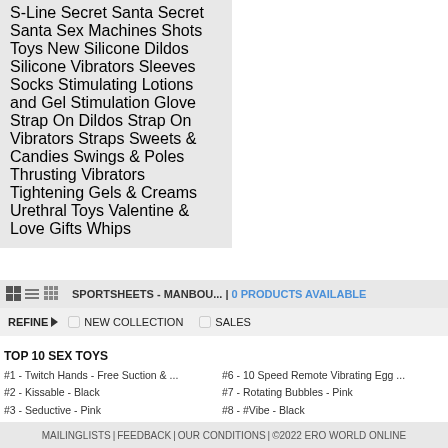S-Line Secret Santa
Secret Santa
Sex Machines
Shots Toys New
Silicone Dildos
Silicone Vibrators
Sleeves
Socks
Stimulating Lotions and Gel
Stimulation Glove
Strap On Dildos
Strap On Vibrators
Straps
Sweets & Candies
Swings & Poles
Thrusting Vibrators
Tightening Gels & Creams
Urethral Toys
Valentine & Love Gifts
Whips
SPORTSHEETS - MANBOU... | 0 PRODUCTS AVAILABLE
REFINE | NEW COLLECTION | SALES
TOP 10 SEX TOYS
#1 - Twitch Hands - Free Suction & ...
#2 - Kissable - Black
#3 - Seductive - Pink
#4 - Fist It - Extra Thick - 500ml
#5 - Blue Power
#6 - 10 Speed Remote Vibrating Egg ...
#7 - Rotating Bubbles - Pink
#8 - #Vibe - Black
#9 - Pleasure Kit #6 - Pink
#10 - Mira - Spinning G-spot Rabbit ...
MAILINGLISTS | FEEDBACK | OUR CONDITIONS | ©2022 ERO WORLD ONLINE